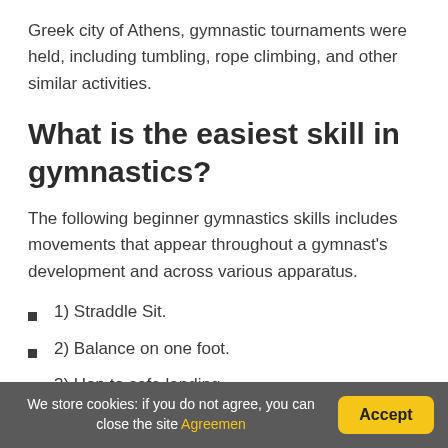Greek city of Athens, gymnastic tournaments were held, including tumbling, rope climbing, and other similar activities.
What is the easiest skill in gymnastics?
The following beginner gymnastics skills includes movements that appear throughout a gymnast's development and across various apparatus.
1) Straddle Sit.
2) Balance on one foot.
3) Hop to safe landing.
We store cookies: if you do not agree, you can close the site Agreemen  Accept